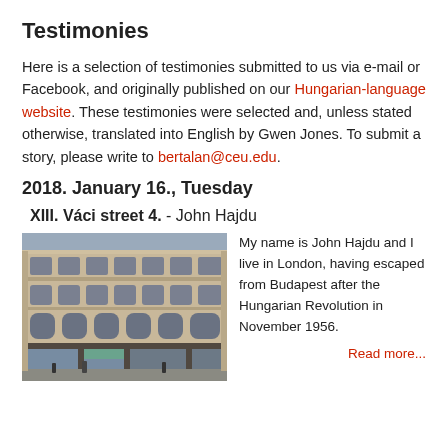Testimonies
Here is a selection of testimonies submitted to us via e-mail or Facebook, and originally published on our Hungarian-language website. These testimonies were selected and, unless stated otherwise, translated into English by Gwen Jones. To submit a story, please write to bertalan@ceu.edu.
2018. January 16., Tuesday
XIII. Váci street 4. - John Hajdu
[Figure (photo): Street-level photograph of a large neoclassical building facade in Budapest, showing ornate stonework, arched windows, and ground-floor shops.]
My name is John Hajdu and I live in London, having escaped from Budapest after the Hungarian Revolution in November 1956.
Read more...